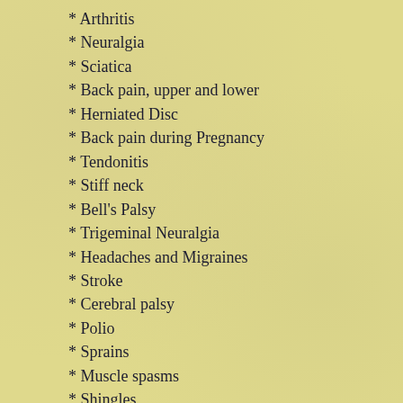* Arthritis
* Neuralgia
* Sciatica
* Back pain, upper and lower
* Herniated Disc
* Back pain during Pregnancy
* Tendonitis
* Stiff neck
* Bell's Palsy
* Trigeminal Neuralgia
* Headaches and Migraines
* Stroke
* Cerebral palsy
* Polio
* Sprains
* Muscle spasms
* Shingles
Gynecological Genitourinary
* PMS and Period Pain